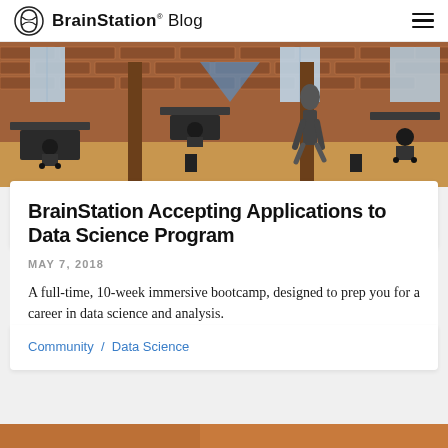BrainStation® Blog
[Figure (photo): Interior of a modern open-plan office or co-working space with brick walls, wooden columns, office chairs, and a person walking through the space.]
BrainStation Accepting Applications to Data Science Program
MAY 7, 2018
A full-time, 10-week immersive bootcamp, designed to prep you for a career in data science and analysis.
Community / Data Science